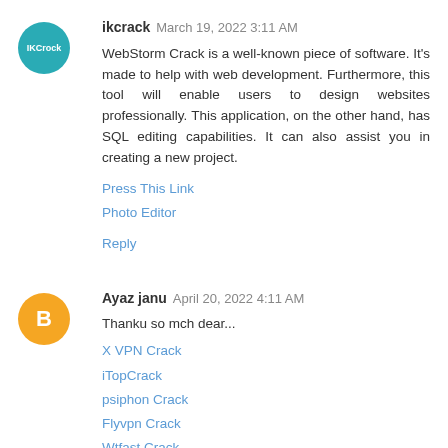ikcrack March 19, 2022 3:11 AM
WebStorm Crack is a well-known piece of software. It's made to help with web development. Furthermore, this tool will enable users to design websites professionally. This application, on the other hand, has SQL editing capabilities. It can also assist you in creating a new project.
Press This Link
Photo Editor
Reply
Ayaz janu April 20, 2022 4:11 AM
Thanku so mch dear...
X VPN Crack
iTopCrack
psiphon Crack
Flyvpn Crack
Wtfast Crack
Adobe Lightroom Crack
Reply